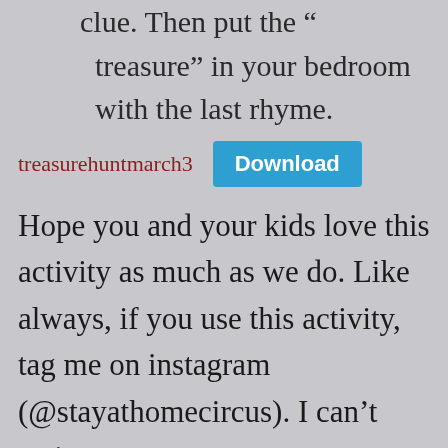clue. Then put the “treasure” in your bedroom with the last rhyme.
treasurehuntmarch3   Download
Hope you and your kids love this activity as much as we do. Like always, if you use this activity, tag me on instagram (@stayathomecircus). I can’t wait